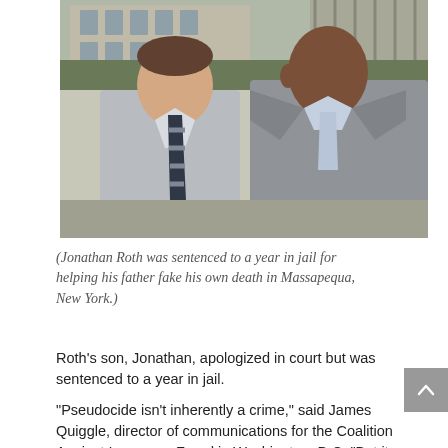[Figure (photo): Two men in suits standing outside a building. The man on the left wears a light blue shirt and a striped tie. The man on the right wears a gray suit and a light blue tie.]
(Jonathan Roth was sentenced to a year in jail for helping his father fake his own death in Massapequa, New York.)
Roth’s son, Jonathan, apologized in court but was sentenced to a year in jail.
“Pseudocide isn’t inherently a crime,” said James Quiggle, director of communications for the Coalition Against Insurance Fraud in Washington, D.C. “But it involves so many built-in frauds that it’s virtually